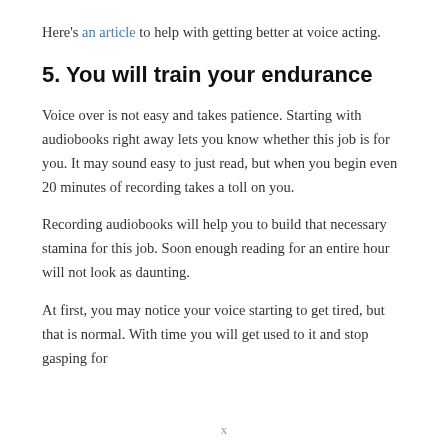Here's an article to help with getting better at voice acting.
5. You will train your endurance
Voice over is not easy and takes patience. Starting with audiobooks right away lets you know whether this job is for you. It may sound easy to just read, but when you begin even 20 minutes of recording takes a toll on you.
Recording audiobooks will help you to build that necessary stamina for this job. Soon enough reading for an entire hour will not look as daunting.
At first, you may notice your voice starting to get tired, but that is normal. With time you will get used to it and stop gasping for
x